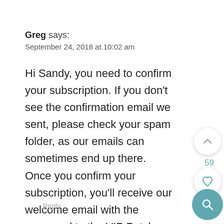Greg says:
September 24, 2018 at 10:02 am
Hi Sandy, you need to confirm your subscription. If you don't see the confirmation email we sent, please check your spam folder, as our emails can sometimes end up there. Once you confirm your subscription, you'll receive our welcome email with the password to the VIP Patch.
Reply